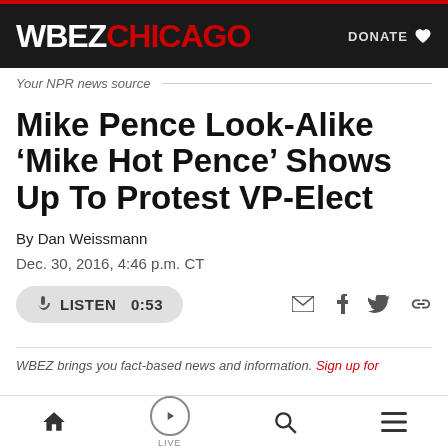WBEZ CHICAGO — DONATE
Your NPR news source
Mike Pence Look-Alike ‘Mike Hot Pence’ Shows Up To Protest VP-Elect
By Dan Weissmann
Dec. 30, 2016, 4:46 p.m. CT
LISTEN 0:53
WBEZ brings you fact-based news and information. Sign up for
Home | Live | Search | Menu